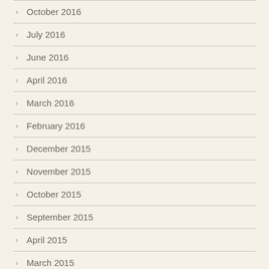October 2016
July 2016
June 2016
April 2016
March 2016
February 2016
December 2015
November 2015
October 2015
September 2015
April 2015
March 2015
January 2015
May 2013